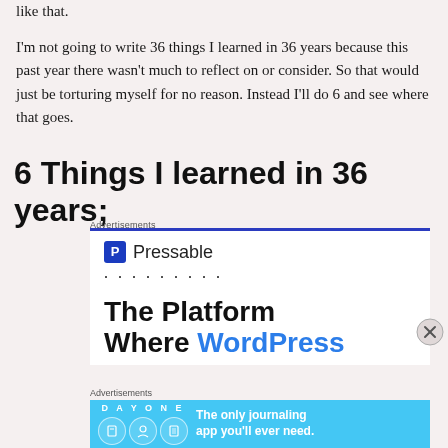like that.
I'm not going to write 36 things I learned in 36 years because this past year there wasn't much to reflect on or consider. So that would just be torturing myself for no reason. Instead I'll do 6 and see where that goes.
6 Things I learned in 36 years;
Advertisements
[Figure (screenshot): Pressable advertisement: logo with blue P icon, dots separator, bold text 'The Platform Where WordPress' in black and blue]
Advertisements
[Figure (screenshot): Day One journaling app advertisement with cyan/blue background, brand name 'DAY ONE', icons, and tagline 'The only journaling app you'll ever need.']